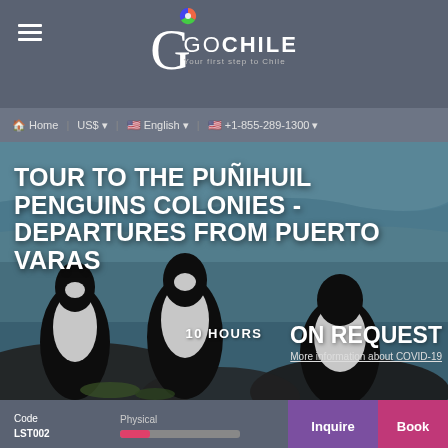GoChile - Your first step to Chile
[Figure (screenshot): Navigation bar with Home, US$, English, and phone number +1-855-289-1300]
[Figure (photo): Hero image of penguins on rocks with ocean in background]
TOUR TO THE PUÑIHUIL PENGUINS COLONIES - DEPARTURES FROM PUERTO VARAS
10 HOURS
ON REQUEST
More information about COVID-19
Code LST002 · Physical · Inquire · Book
Home > Tours > Tour to the Puñihuil penguins Colonies - depar